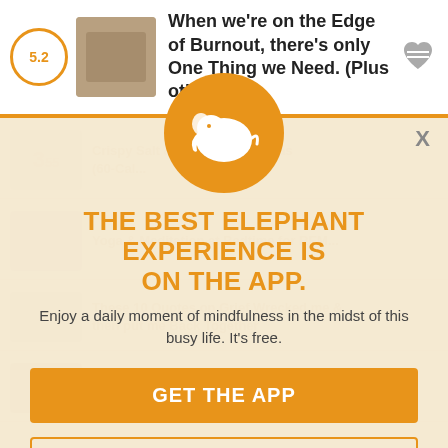When we're on the Edge of Burnout, there's only One Thing we Need. (Plus other To...
[Figure (screenshot): Blurred background showing article thumbnails and text from the Elephant Journal app/website]
[Figure (logo): Elephant Journal logo: white elephant silhouette on orange circle]
THE BEST ELEPHANT EXPERIENCE IS ON THE APP.
Enjoy a daily moment of mindfulness in the midst of this busy life. It's free.
GET THE APP
OPEN IN APP